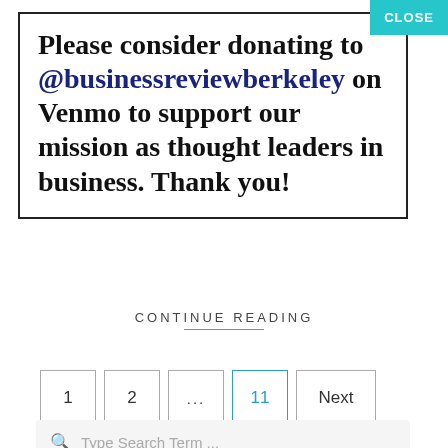Please consider donating to @businessreviewberkeley on Venmo to support our mission as thought leaders in business. Thank you!
CLOSE
CONTINUE READING
1
2
...
11
Next
Type Search Term ...